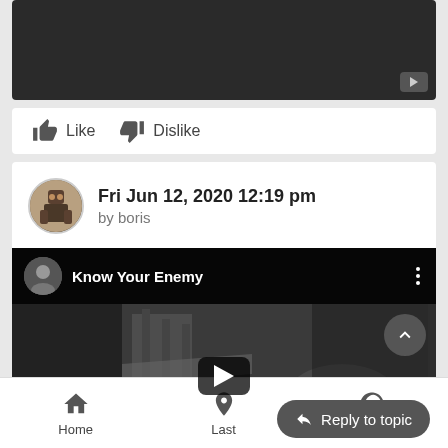[Figure (screenshot): Video thumbnail area showing dark/black background with a small YouTube play button icon in the bottom right corner]
Like   Dislike
Fri Jun 12, 2020 12:19 pm
by boris
[Figure (screenshot): YouTube video embed showing 'Know Your Enemy' with a channel avatar, three-dot menu, a black and white scene with a car and industrial background, a centered play button, a scroll-up button, and a 'Reply to topic' button overlay]
Home   Last   Log in